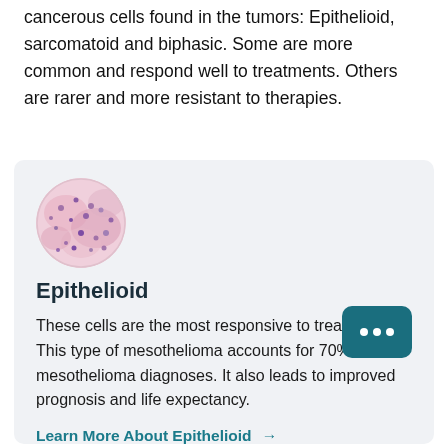cancerous cells found in the tumors: Epithelioid, sarcomatoid and biphasic. Some are more common and respond well to treatments. Others are rarer and more resistant to therapies.
[Figure (photo): Circular microscopy image showing epithelioid mesothelioma cell tissue stained pink/purple]
Epithelioid
These cells are the most responsive to treatment. This type of mesothelioma accounts for 70% of mesothelioma diagnoses. It also leads to improved prognosis and life expectancy.
Learn More About Epithelioid →